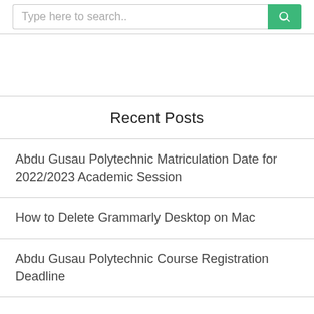Type here to search..
[Figure (other): Advertisement / blank area]
Recent Posts
Abdu Gusau Polytechnic Matriculation Date for 2022/2023 Academic Session
How to Delete Grammarly Desktop on Mac
Abdu Gusau Polytechnic Course Registration Deadline